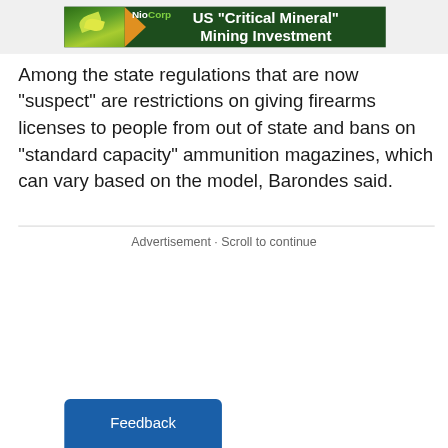[Figure (screenshot): Advertisement banner with NioCorp logo, plant/arrow graphic, and text 'US "Critical Mineral" Mining Investment' on dark green background]
Among the state regulations that are now "suspect" are restrictions on giving firearms licenses to people from out of state and bans on "standard capacity" ammunition magazines, which can vary based on the model, Barondes said.
Advertisement · Scroll to continue
[Figure (other): Feedback button (blue, bottom of page)]